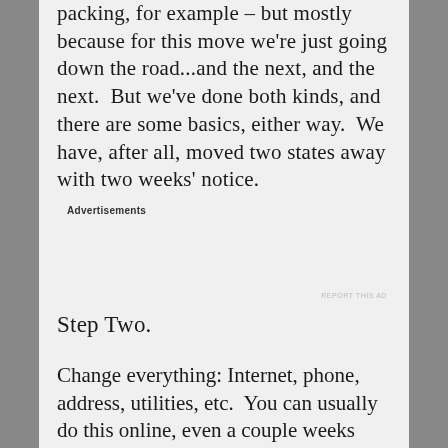packing, for example – but mostly because for this move we're just going down the road...and the next, and the next.  But we've done both kinds, and there are some basics, either way.  We have, after all, moved two states away with two weeks' notice.
Advertisements
REPORT THIS AD
Step Two.
Change everything: Internet, phone, address, utilities, etc.  You can usually do this online, even a couple weeks ahead of time.  Just be sure to put down the correct dates, so you have all your